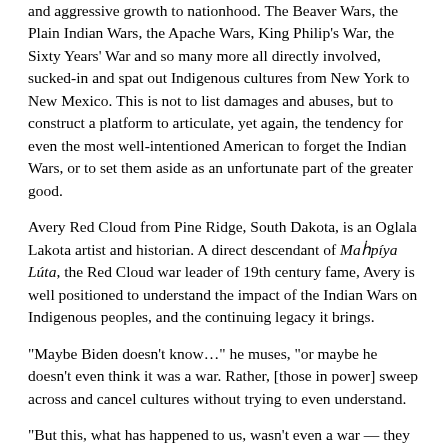and aggressive growth to nationhood. The Beaver Wars, the Plain Indian Wars, the Apache Wars, King Philip’s War, the Sixty Years’ War and so many more all directly involved, sucked-in and spat out Indigenous cultures from New York to New Mexico. This is not to list damages and abuses, but to construct a platform to articulate, yet again, the tendency for even the most well-intentioned American to forget the Indian Wars, or to set them aside as an unfortunate part of the greater good.
Avery Red Cloud from Pine Ridge, South Dakota, is an Oglala Lakota artist and historian. A direct descendant of Maḥpiya Lúta, the Red Cloud war leader of 19th century fame, Avery is well positioned to understand the impact of the Indian Wars on Indigenous peoples, and the continuing legacy it brings.
“Maybe Biden doesn’t know…” he muses, “or maybe he doesn’t even think it was a war. Rather, [those in power] sweep across and cancel cultures without trying to even understand.
“But this, what has happened to us, wasn’t even a war — they tactically took our tribes out down the line. Not one single tribe would have done these horrific acts to their neighbors. Us Lakota put up a fight. That’s why they really hate us and have been pushing down harder on us all these years.”
Avery’s feelings on anti-Lakota prejudice certainly ring true. Pine